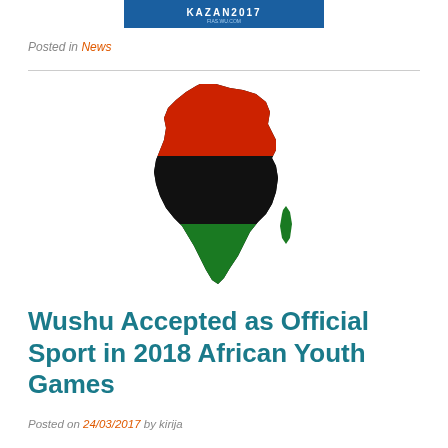[Figure (logo): Kazan 2017 logo banner — blue and white banner with text 'KAZAN2017' and website URL]
Posted in News
[Figure (map): Silhouette map of Africa overlaid with Pan-African flag colors: red on top third, black on middle third, green on bottom third]
Wushu Accepted as Official Sport in 2018 African Youth Games
Posted on 24/03/2017 by kirija